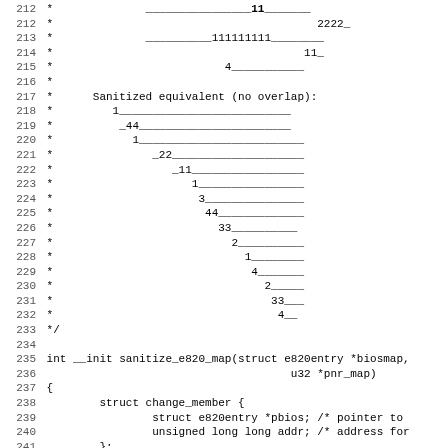Source code listing lines 212-243, showing sanitize_e820_map function and struct change_member definition in C code